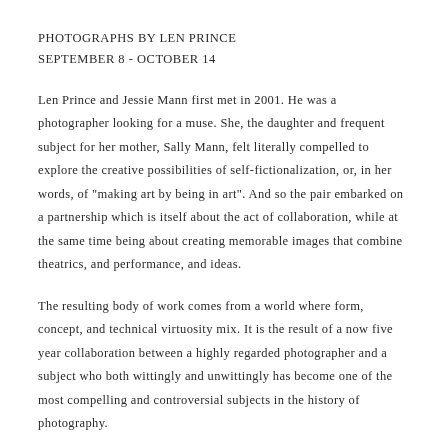PHOTOGRAPHS BY LEN PRINCE
SEPTEMBER 8 - OCTOBER 14
Len Prince and Jessie Mann first met in 2001. He was a photographer looking for a muse. She, the daughter and frequent subject for her mother, Sally Mann, felt literally compelled to explore the creative possibilities of self-fictionalization, or, in her words, of "making art by being in art". And so the pair embarked on a partnership which is itself about the act of collaboration, while at the same time being about creating memorable images that combine theatrics, and performance, and ideas.
The resulting body of work comes from a world where form, concept, and technical virtuosity mix. It is the result of a now five year collaboration between a highly regarded photographer and a subject who both wittingly and unwittingly has become one of the most compelling and controversial subjects in the history of photography.